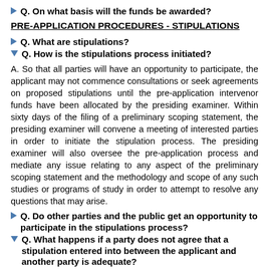Q. On what basis will the funds be awarded?
PRE-APPLICATION PROCEDURES - STIPULATIONS
Q. What are stipulations?
Q. How is the stipulations process initiated?
A. So that all parties will have an opportunity to participate, the applicant may not commence consultations or seek agreements on proposed stipulations until the pre-application intervenor funds have been allocated by the presiding examiner. Within sixty days of the filing of a preliminary scoping statement, the presiding examiner will convene a meeting of interested parties in order to initiate the stipulation process. The presiding examiner will also oversee the pre-application process and mediate any issue relating to any aspect of the preliminary scoping statement and the methodology and scope of any such studies or programs of study in order to attempt to resolve any questions that may arise.
Q. Do other parties and the public get an opportunity to participate in the stipulations process?
Q. What happens if a party does not agree that a stipulation entered into between the applicant and another party is adequate?